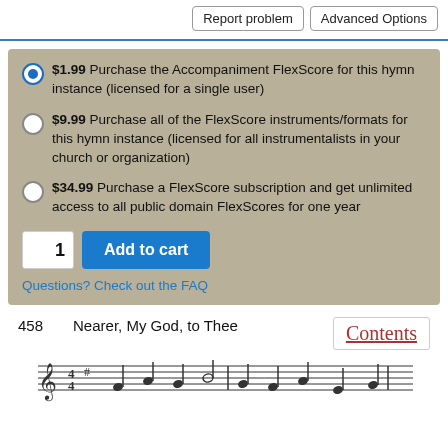Report problem | Advanced Options
$1.99 Purchase the Accompaniment FlexScore for this hymn instance (licensed for a single user)
$9.99 Purchase all of the FlexScore instruments/formats for this hymn instance (licensed for all instrumentalists in your church or organization)
$34.99 Purchase a FlexScore subscription and get unlimited access to all public domain FlexScores for one year
1  Add to cart
Questions? Check out the FAQ
458    Nearer, My God, to Thee
[Figure (illustration): Musical staff notation for hymn 458 Nearer, My God, to Thee]
Contents